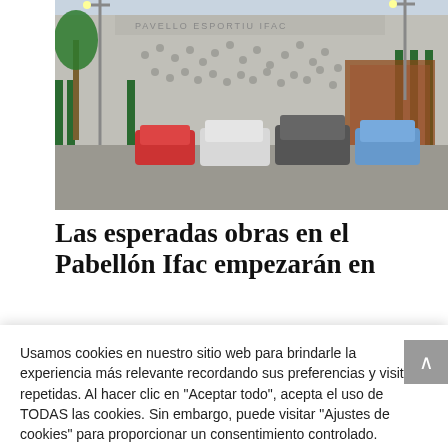[Figure (photo): Exterior photo of a sports pavilion building labeled 'PAVELLO ESPORTIU IFAC' with parked cars in front, green metal gate, palm trees, and street lights.]
Las esperadas obras en el Pabellón Ifac empezarán en
Usamos cookies en nuestro sitio web para brindarle la experiencia más relevante recordando sus preferencias y visitas repetidas. Al hacer clic en "Aceptar todo", acepta el uso de TODAS las cookies. Sin embargo, puede visitar "Ajustes de cookies" para proporcionar un consentimiento controlado.
Ajustes de Cookies | Aceptar todas